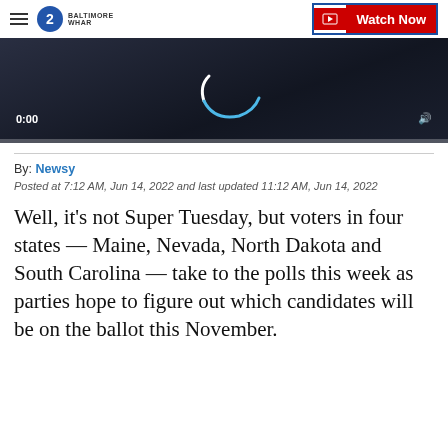2 WHAR BALTIMORE | Watch Now
[Figure (screenshot): Dark video player thumbnail showing a loading spinner arc in blue, with timestamp 0:00 at bottom left and a progress bar at the bottom]
By: Newsy
Posted at 7:12 AM, Jun 14, 2022 and last updated 11:12 AM, Jun 14, 2022
Well, it’s not Super Tuesday, but voters in four states — Maine, Nevada, North Dakota and South Carolina — take to the polls this week as parties hope to figure out which candidates will be on the ballot this November.